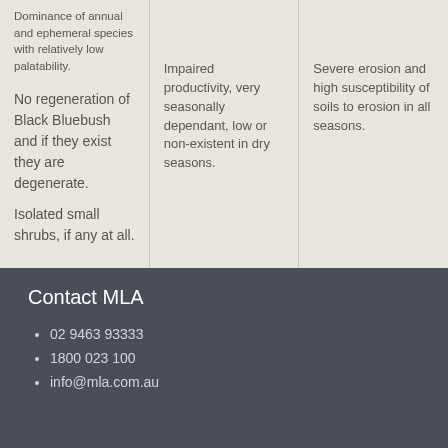Dominance of annual and ephemeral species with relatively low palatability.
No regeneration of Black Bluebush and if they exist they are degenerate.

Isolated small shrubs, if any at all.
Impaired productivity, very seasonally dependant, low or non-existent in dry seasons.
Severe erosion and high susceptibility of soils to erosion in all seasons.
Contact MLA
02 9463 93333
1800 023 100
info@mla.com.au